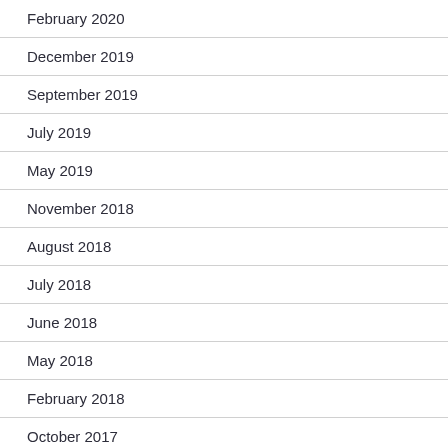February 2020
December 2019
September 2019
July 2019
May 2019
November 2018
August 2018
July 2018
June 2018
May 2018
February 2018
October 2017
August 2017